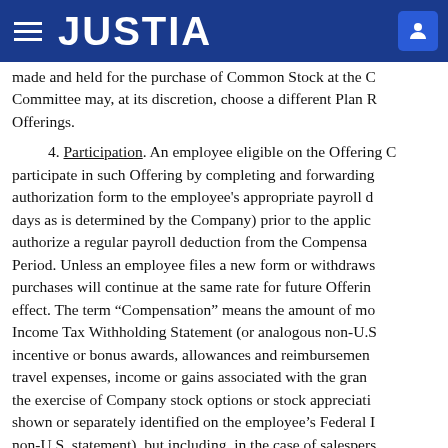JUSTIA
made and held for the purchase of Common Stock at the Committee may, at its discretion, choose a different Plan R Offerings.
4. Participation. An employee eligible on the Offering C participate in such Offering by completing and forwarding authorization form to the employee's appropriate payroll d days as is determined by the Company) prior to the applic authorize a regular payroll deduction from the Compensa Period. Unless an employee files a new form or withdraws purchases will continue at the same rate for future Offerin effect. The term “Compensation” means the amount of mo Income Tax Withholding Statement (or analogous non-U.S incentive or bonus awards, allowances and reimbursemen travel expenses, income or gains associated with the gran the exercise of Company stock options or stock appreciati shown or separately identified on the employee’s Federal I non-U.S. statement), but including, in the case of salespers